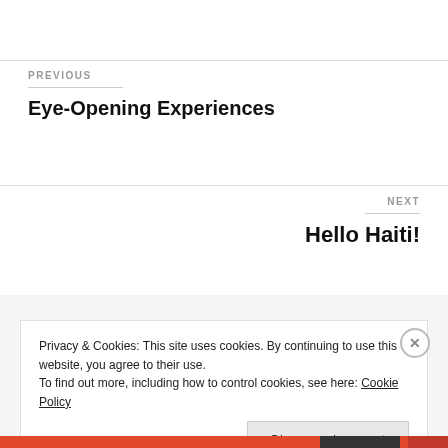PREVIOUS
Eye-Opening Experiences
NEXT
Hello Haiti!
Privacy & Cookies: This site uses cookies. By continuing to use this website, you agree to their use.
To find out more, including how to control cookies, see here: Cookie Policy
Close and accept